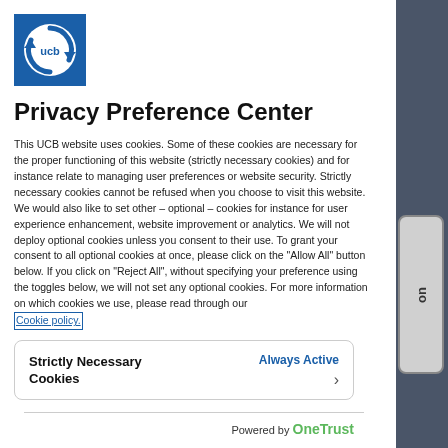[Figure (logo): UCB company logo — blue square with white circular arrow and 'ucb' text inside]
Privacy Preference Center
This UCB website uses cookies. Some of these cookies are necessary for the proper functioning of this website (strictly necessary cookies) and for instance relate to managing user preferences or website security. Strictly necessary cookies cannot be refused when you choose to visit this website. We would also like to set other – optional – cookies for instance for user experience enhancement, website improvement or analytics. We will not deploy optional cookies unless you consent to their use. To grant your consent to all optional cookies at once, please click on the "Allow All" button below. If you click on "Reject All", without specifying your preference using the toggles below, we will not set any optional cookies. For more information on which cookies we use, please read through our
Cookie policy.
| Strictly Necessary Cookies | Always Active |
| --- | --- |